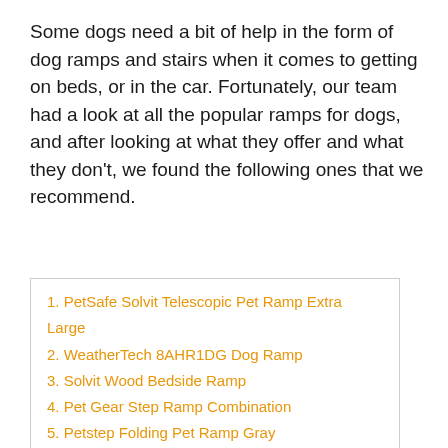Some dogs need a bit of help in the form of dog ramps and stairs when it comes to getting on beds, or in the car. Fortunately, our team had a look at all the popular ramps for dogs, and after looking at what they offer and what they don't, we found the following ones that we recommend.
1. PetSafe Solvit Telescopic Pet Ramp Extra Large
2. WeatherTech 8AHR1DG Dog Ramp
3. Solvit Wood Bedside Ramp
4. Pet Gear Step Ramp Combination
5. Petstep Folding Pet Ramp Gray
6. PetSafe Solvit Telescopic Dog Ramp